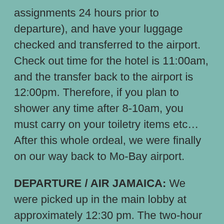assignments 24 hours prior to departure), and have your luggage checked and transferred to the airport. Check out time for the hotel is 11:00am, and the transfer back to the airport is 12:00pm. Therefore, if you plan to shower any time after 8-10am, you must carry on your toiletry items etc… After this whole ordeal, we were finally on our way back to Mo-Bay airport.
DEPARTURE / AIR JAMAICA: We were picked up in the main lobby at approximately 12:30 pm. The two-hour drive was long and hot. The air conditioning does not work to well in the mini-bus. The ride is very bumpy and